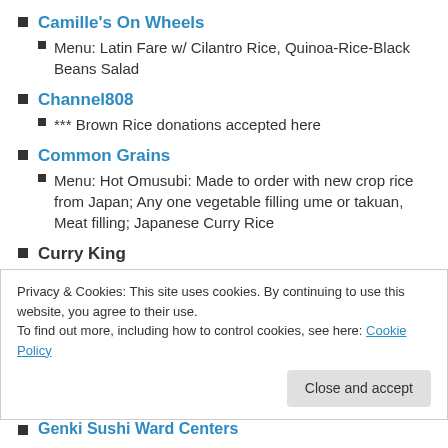Camille's On Wheels
Menu: Latin Fare w/ Cilantro Rice, Quinoa-Rice-Black Beans Salad
Channel808
*** Brown Rice donations accepted here
Common Grains
Menu: Hot Omusubi: Made to order with new crop rice from Japan; Any one vegetable filling ume or takuan, Meat filling; Japanese Curry Rice
Curry King
Privacy & Cookies: This site uses cookies. By continuing to use this website, you agree to their use. To find out more, including how to control cookies, see here: Cookie Policy
Genki Sushi Ward Centers